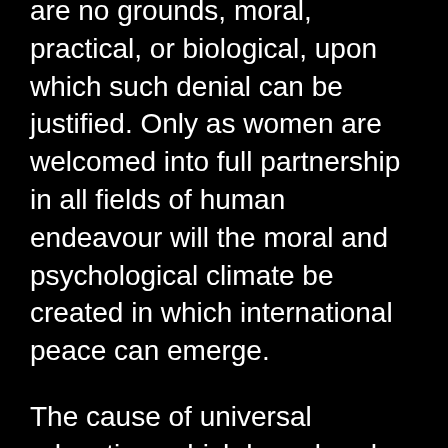are no grounds, moral, practical, or biological, upon which such denial can be justified. Only as women are welcomed into full partnership in all fields of human endeavour will the moral and psychological climate be created in which international peace can emerge.
The cause of universal education, which has already enlisted in its service an army of dedicated people from every faith and nation, deserves the utmost support that the governments of the world can lend it. For ignorance is indisputably the principal reason for the decline and fall of peoples and the perpetuation of prejudice. No nation can achieve success unless education is accorded all its citizens. Lack of resources limits the ability of many nations to fulfil this necessity, imposing a